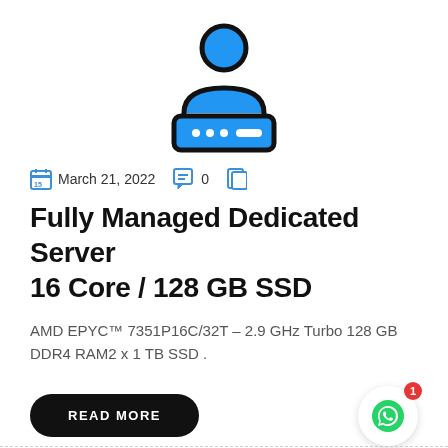[Figure (illustration): Icon of a person above a server/computer device with three dots and a dash, drawn in blue and black outline style]
March 21, 2022   0
Fully Managed Dedicated Server 16 Core / 128 GB SSD
AMD EPYC™ 7351P16C/32T – 2.9 GHz Turbo 128 GB DDR4 RAM2 x 1 TB SSD .
READ MORE